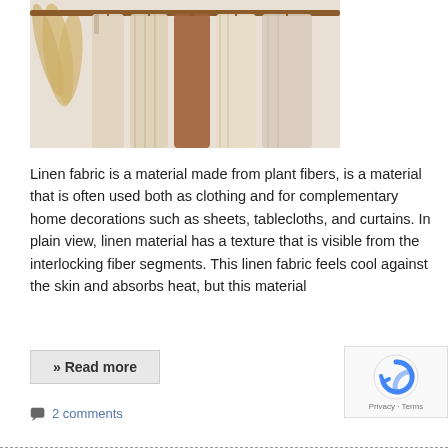[Figure (photo): Clothing items hanging on a wooden rack — neutral tones of beige, cream, and brown, with pampas grass decorations on the left side.]
Linen fabric is a material made from plant fibers, is a material that is often used both as clothing and for complementary home decorations such as sheets, tablecloths, and curtains. In plain view, linen material has a texture that is visible from the interlocking fiber segments. This linen fabric feels cool against the skin and absorbs heat, but this material
» Read more
2 comments